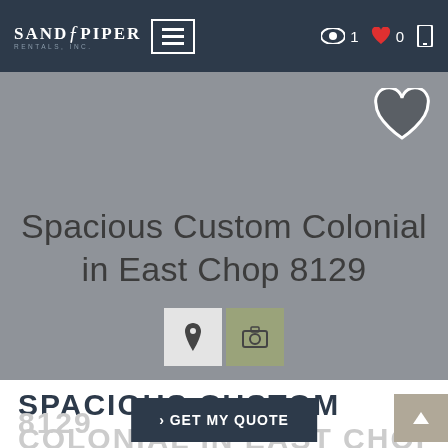Sandpiper Rentals Inc. navigation bar with logo, hamburger menu, eye icon (1), heart icon (0), phone icon
[Figure (screenshot): Hero image area with gray background, heart icon in top-right, title text 'Spacious Custom Colonial in East Chop 8129', location pin button and camera button]
Spacious Custom Colonial in East Chop 8129
SPACIOUS CUSTOM
COLONIAL IN EAST CHOP 8129
> GET MY QUOTE